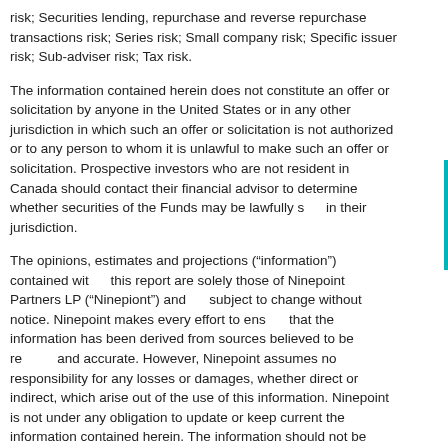risk; Securities lending, repurchase and reverse repurchase transactions risk; Series risk; Small company risk; Specific issuer risk; Sub-adviser risk; Tax risk.
The information contained herein does not constitute an offer or solicitation by anyone in the United States or in any other jurisdiction in which such an offer or solicitation is not authorized or to any person to whom it is unlawful to make such an offer or solicitation. Prospective investors who are not resident in Canada should contact their financial advisor to determine whether securities of the Funds may be lawfully sold in their jurisdiction.
The opinions, estimates and projections (“information”) contained within this report are solely those of Ninepoint Partners LP (“Ninepiont”) and are subject to change without notice. Ninepoint makes every effort to ensure that the information has been derived from sources believed to be reliable and accurate. However, Ninepoint assumes no responsibility for any losses or damages, whether direct or indirect, which arise out of the use of this information. Ninepoint is not under any obligation to update or keep current the information contained herein. The information should not be regarded by recipients as a substitute for the exercise of their own judgment. Please contact your own personal advisor on your particular circumstances.
Views expressed regarding a particular company, security, industry or